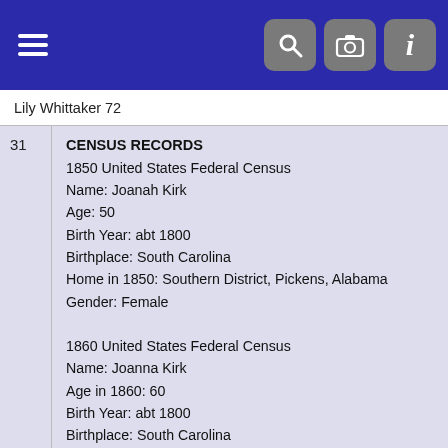[Navigation header with hamburger menu, search, camera, and info icons]
Lily Whittaker 72
31
CENSUS RECORDS
1850 United States Federal Census
Name: Joanah Kirk
Age: 50
Birth Year: abt 1800
Birthplace: South Carolina
Home in 1850: Southern District, Pickens, Alabama
Gender: Female

1860 United States Federal Census
Name: Joanna Kirk
Age in 1860: 60
Birth Year: abt 1800
Birthplace: South Carolina
Home in 1860: Southern Division, Pickens, Alabama
Gender: Female
Post Office: Carrollton
32
CENSUS RECORDS
1860 United States Federal Census
Name: Calvin C Kirk
Age in 1860: 15
Birth Year: abt 1845
Birthplace: Alabama
Home in 1860: Western Division, Wilcox, Alabama
Gender: Male [in household of his mother Margaret Kirk]